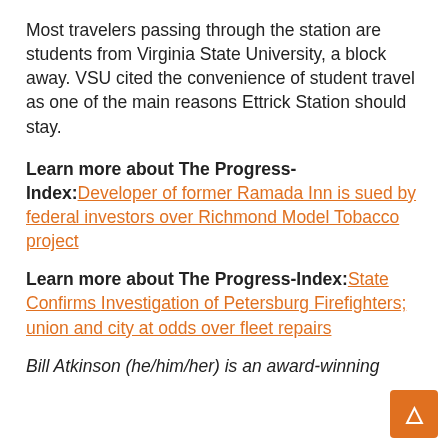Most travelers passing through the station are students from Virginia State University, a block away. VSU cited the convenience of student travel as one of the main reasons Ettrick Station should stay.
Learn more about The Progress-Index: Developer of former Ramada Inn is sued by federal investors over Richmond Model Tobacco project
Learn more about The Progress-Index: State Confirms Investigation of Petersburg Firefighters; union and city at odds over fleet repairs
Bill Atkinson (he/him/her) is an award-winning